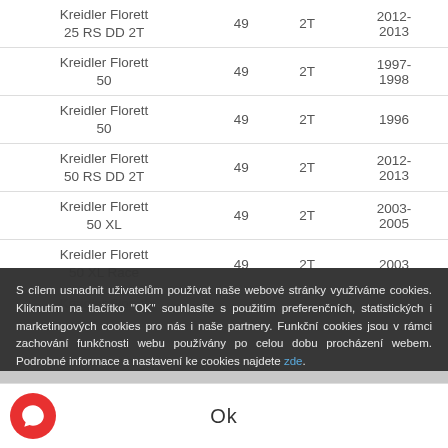| Model | CC | Type | Year |
| --- | --- | --- | --- |
| Kreidler Florett 25 RS DD 2T | 49 | 2T | 2012-2013 |
| Kreidler Florett 50 | 49 | 2T | 1997-1998 |
| Kreidler Florett 50 | 49 | 2T | 1996 |
| Kreidler Florett 50 RS DD 2T | 49 | 2T | 2012-2013 |
| Kreidler Florett 50 XL | 49 | 2T | 2003-2005 |
| Kreidler Florett 50 XL Race | 49 | 2T | 2003 |
| Kreidler Florett ... |  |  |  |
S cílem usnadnit uživatelům používat naše webové stránky využíváme cookies. Kliknutím na tlačítko "OK" souhlasíte s použitím preferenčních, statistických i marketingových cookies pro nás i naše partnery. Funkční cookies jsou v rámci zachování funkčnosti webu používány po celou dobu procházení webem. Podrobné informace a nastavení ke cookies najdete zde.